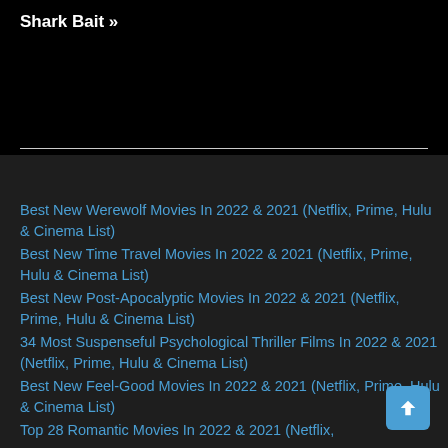Shark Bait »
Best New Werewolf Movies In 2022 & 2021 (Netflix, Prime, Hulu & Cinema List)
Best New Time Travel Movies In 2022 & 2021 (Netflix, Prime, Hulu & Cinema List)
Best New Post-Apocalyptic Movies In 2022 & 2021 (Netflix, Prime, Hulu & Cinema List)
34 Most Suspenseful Psychological Thriller Films In 2022 & 2021 (Netflix, Prime, Hulu & Cinema List)
Best New Feel-Good Movies In 2022 & 2021 (Netflix, Prime, Hulu & Cinema List)
Top 28 Romantic Movies In 2022 & 2021 (Netflix,